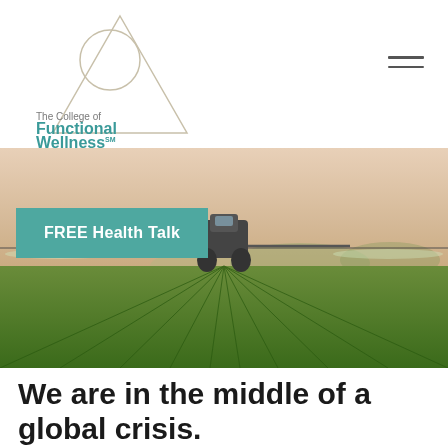[Figure (logo): The College of Functional Wellness logo — a circle and triangle outline above the text 'The College of Functional Wellness™']
[Figure (photo): Agricultural field with rows of green crops in foreground and a large crop-spraying machine/tractor in the background under a hazy warm sky]
FREE Health Talk
We are in the middle of a global crisis.